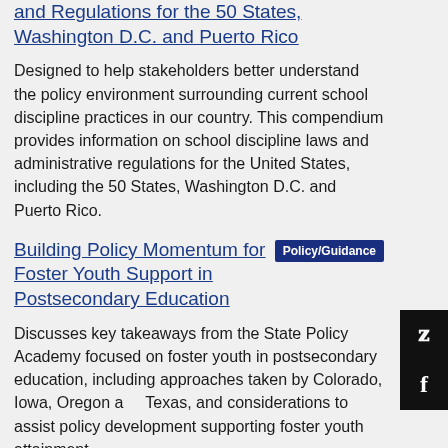and Regulations for the 50 States, Washington D.C. and Puerto Rico
Designed to help stakeholders better understand the policy environment surrounding current school discipline practices in our country. This compendium provides information on school discipline laws and administrative regulations for the United States, including the 50 States, Washington D.C. and Puerto Rico.
Building Policy Momentum for Foster Youth Support in Postsecondary Education
Discusses key takeaways from the State Policy Academy focused on foster youth in postsecondary education, including approaches taken by Colorado, Iowa, Oregon and Texas, and considerations to assist policy development supporting foster youth attainment.
Coalition of Colorado Campus Alcohol